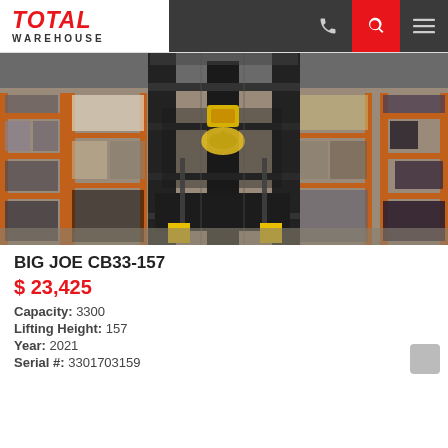TOTAL WAREHOUSE
[Figure (photo): Photo of a Big Joe CB33-157 forklift in a warehouse setting, showing the mast, forks, and warehouse shelving in the background.]
BIG JOE CB33-157
$ 23,425
Capacity: 3300
Lifting Height: 157
Year: 2021
Serial #: 3301703159